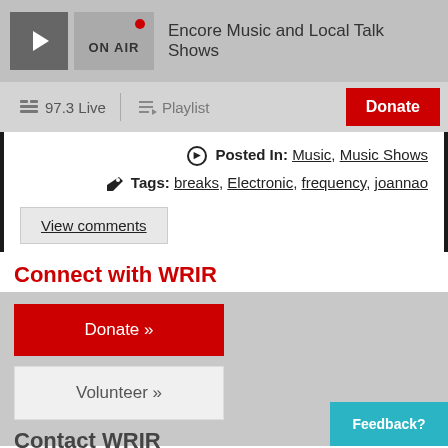[Figure (screenshot): Radio station player: play button icon, ON AIR label with red dot, station name 'Encore Music and Local Talk Shows']
97.3 Live | Playlist | Donate
Posted In: Music, Music Shows
Tags: breaks, Electronic, frequency, joannao
View comments
Connect with WRIR
Donate »
Volunteer »
Contact WRIR
Feedback?